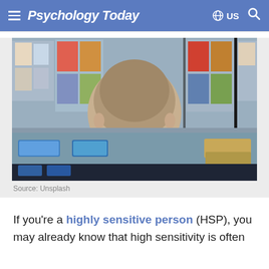Psychology Today
[Figure (photo): Back view of a child with short hair looking at a vending machine or display case filled with colorful items. The child is wearing a dark navy shirt. The machine has blue-lit panels at the bottom.]
Source: Unsplash
If you're a highly sensitive person (HSP), you may already know that high sensitivity is often